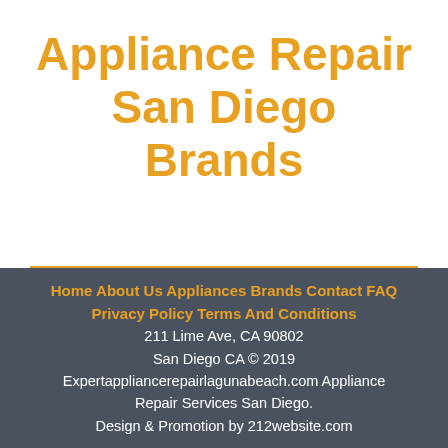Appliance Repair San Diego Brands
Home About Us Appliances Brands Contact FAQ Privacy Policy Terms And Conditions
211 Lime Ave, CA 90802
San Diego CA © 2019
Expertappliancerepairlagunabeach.com Appliance Repair Services San Diego.
Design & Promotion by 212website.com